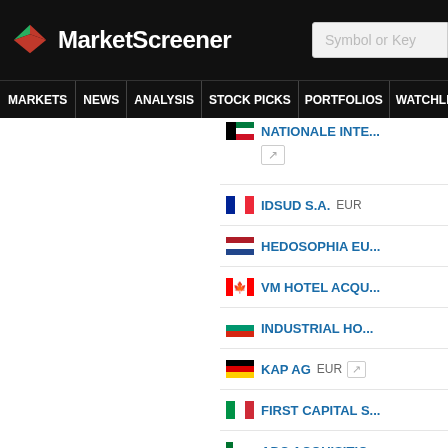[Figure (logo): MarketScreener logo with red/green arrow icon on black background]
MARKETS  NEWS  ANALYSIS  STOCK PICKS  PORTFOLIOS  WATCHLI...
NATIONALE INTERNATIONALE (Kuwait flag)
IDSUD S.A.  EUR
HEDOSOPHIA EU...
VM HOTEL ACQU...
INDUSTRIAL HO...
KAP AG  EUR
FIRST CAPITAL S...
ADC ACQUISITIO...
RIVERVIEW ACQ...
STARA PLANINA...
NORTHERN LIGH...